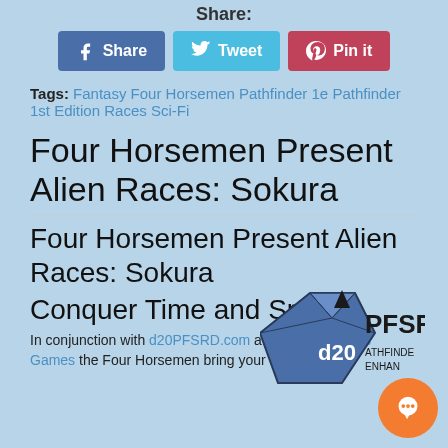Share:
[Figure (infographic): Three social share buttons: Facebook Share (blue), Twitter Tweet (cyan), Pinterest Pin it (red)]
Tags: Fantasy Four Horsemen Pathfinder 1e Pathfinder 1st Edition Races Sci-Fi
Four Horsemen Present Alien Races: Sokura
Four Horsemen Present Alien Races: Sokura
Conquer Time and Space!
In conjunction with d20PFSRD.com and Rogue Genius Games the Four Horsemen bring your more
[Figure (logo): d20 PFSRD Pathfinder logo with d20 dice graphic]